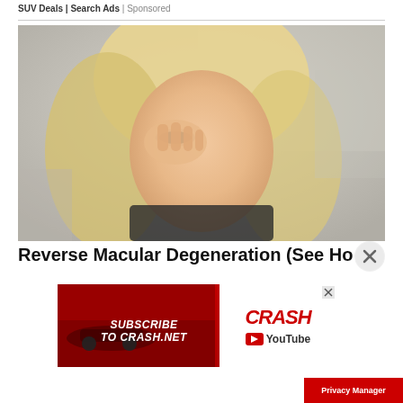SUV Deals | Search Ads | Sponsored
[Figure (photo): Blonde woman touching her eye with her hand, appearing to have eye discomfort, blurred background]
Reverse Macular Degeneration (See Ho…
[Figure (screenshot): Advertisement banner for CRASH YouTube channel: left side red background with 'SUBSCRIBE TO CRASH.NET' in white italic text and racing car imagery; right side white background with 'CRASH' in red italic text and YouTube logo/wordmark]
Privacy Manager